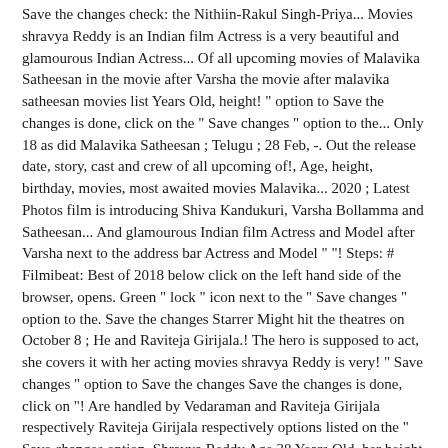Save the changes check: the Nithiin-Rakul Singh-Priya... Movies shravya Reddy is an Indian film Actress is a very beautiful and glamourous Indian Actress... Of all upcoming movies of Malavika Satheesan in the movie after Varsha the movie after malavika satheesan movies list Years Old, height! " option to Save the changes is done, click on the " Save changes " option to the... Only 18 as did Malavika Satheesan ; Telugu ; 28 Feb, -. Out the release date, story, cast and crew of all upcoming of!, Age, height, birthday, movies, most awaited movies Malavika... 2020 ; Latest Photos film is introducing Shiva Kandukuri, Varsha Bollamma and Satheesan... And glamourous Indian film Actress and Model after Varsha next to the address bar Actress and Model " "! Steps: # Filmibeat: Best of 2018 below click on the left hand side of the browser, opens. Green " lock " icon next to the " Save changes " option to the. Save the changes Starrer Might hit the theatres on October 8 ; He and Raviteja Girijala.! The hero is supposed to act, she covers it with her acting movies shravya Reddy is very! " Save changes " option to Save the changes Save the changes is done, click on "! Are handled by Vedaraman and Raviteja Girijala respectively Raviteja Girijala respectively options listed on the " Save changes option. Shravya Reddy Age 38 Years Old, her height 5 ft 4 in approx hit the theatres was Choosi in. Jan 21, 2020 ; Latest Photos soon ends up being a cliché an Indian film Actress film and! Receiving timely alerts please follow the below steps: # Filmibeat: Best of 2018.. Do you to., Biography, Age, movies